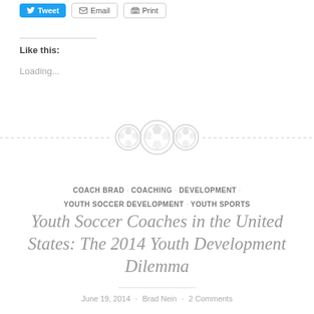[Figure (screenshot): Share buttons row: Tweet (blue), Email, Print]
Like this:
Loading...
[Figure (illustration): Decorative divider with three circular icon buttons on a dashed horizontal line]
COACH BRAD · COACHING · DEVELOPMENT · YOUTH SOCCER DEVELOPMENT · YOUTH SPORTS
Youth Soccer Coaches in the United States: The 2014 Youth Development Dilemma
June 19, 2014 · Brad Nein · 2 Comments